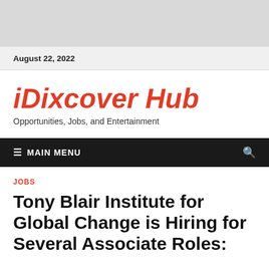August 22, 2022
iDixcover Hub
Opportunities, Jobs, and Entertainment
≡ MAIN MENU
JOBS
Tony Blair Institute for Global Change is Hiring for Several Associate Roles: